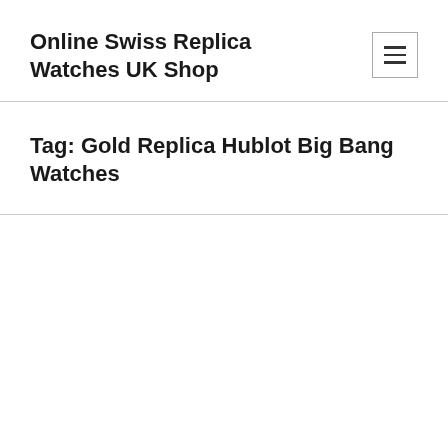Online Swiss Replica Watches UK Shop
Tag: Gold Replica Hublot Big Bang Watches